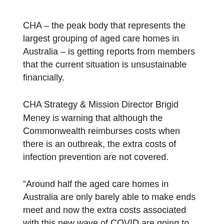CHA – the peak body that represents the largest grouping of aged care homes in Australia – is getting reports from members that the current situation is unsustainable financially.
CHA Strategy & Mission Director Brigid Meney is warning that although the Commonwealth reimburses costs when there is an outbreak, the extra costs of infection prevention are not covered.
“Around half the aged care homes in Australia are only barely able to make ends meet and now the extra costs associated with this new wave of COVID are going to push them over the edge,” Ms Meney said.
“Buying and managing PPE inventories and disposal, extra measures for ensuring safer visitations, additional costs